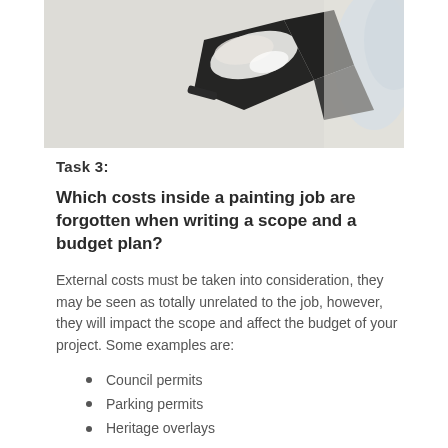[Figure (photo): Close-up photo of a person using a plastering or painting tool (trowel/scraper) with white material against a wall surface. Person wearing light blue clothing visible on right side.]
Task 3:
Which costs inside a painting job are forgotten when writing a scope and a budget plan?
External costs must be taken into consideration, they may be seen as totally unrelated to the job, however, they will impact the scope and affect the budget of your project. Some examples are:
Council permits
Parking permits
Heritage overlays